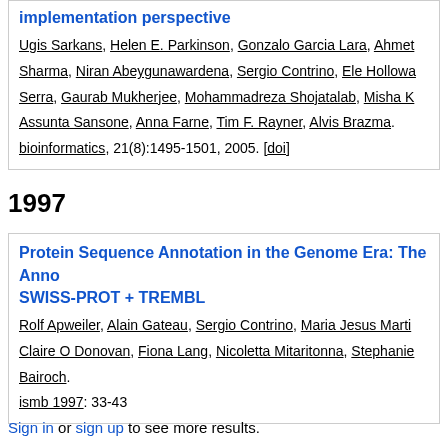implementation perspective — Ugis Sarkans, Helen E. Parkinson, Gonzalo Garcia Lara, Ahmet Sharma, Niran Abeygunawardena, Sergio Contrino, Ele Hollowa Serra, Gaurab Mukherjee, Mohammadreza Shojatalab, Misha K Assunta Sansone, Anna Farne, Tim F. Rayner, Alvis Brazma. bioinformatics, 21(8):1495-1501, 2005. [doi]
1997
Protein Sequence Annotation in the Genome Era: The Anno SWISS-PROT + TREMBL — Rolf Apweiler, Alain Gateau, Sergio Contrino, Maria Jesus Marti Claire O Donovan, Fiona Lang, Nicoletta Mitaritonna, Stephanie Bairoch. ismb 1997: 33-43
Sign in or sign up to see more results.